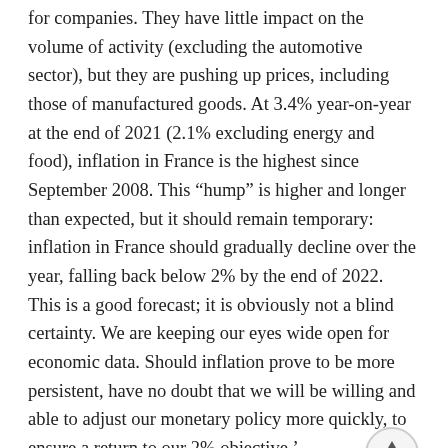for companies. They have little impact on the volume of activity (excluding the automotive sector), but they are pushing up prices, including those of manufactured goods. At 3.4% year-on-year at the end of 2021 (2.1% excluding energy and food), inflation in France is the highest since September 2008. This "hump" is higher and longer than expected, but it should remain temporary: inflation in France should gradually decline over the year, falling back below 2% by the end of 2022. This is a good forecast; it is obviously not a blind certainty. We are keeping our eyes wide open for economic data. Should inflation prove to be more persistent, have no doubt that we will be willing and able to adjust our monetary policy more quickly, to ensure a return to our 2% objective.'
'In the next two years, however, concerns should be reversed: inflation should normalise around a "new regime" which would not be the too low pre-Covid inflation, but close to our 2% target. Conversely, the growth that is currently amplified by catching up would run out of steam: according to our latest projections,